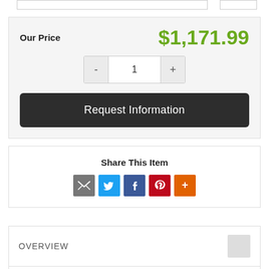Our Price  $1,171.99
- 1 +
Request Information
Share This Item
[Figure (other): Social share icons: email (grey), Twitter (blue), Facebook (dark blue), Pinterest (red), More (orange)]
OVERVIEW